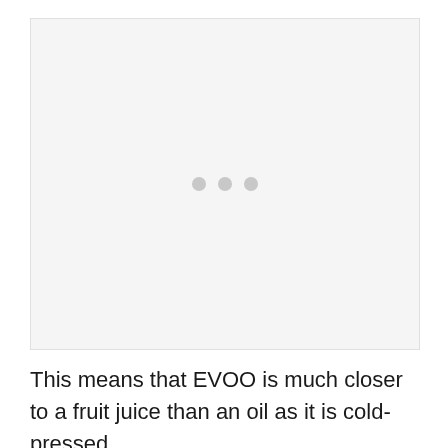[Figure (other): Loading placeholder with three grey dots on a light grey background]
This means that EVOO is much closer to a fruit juice than an oil as it is cold-pressed,